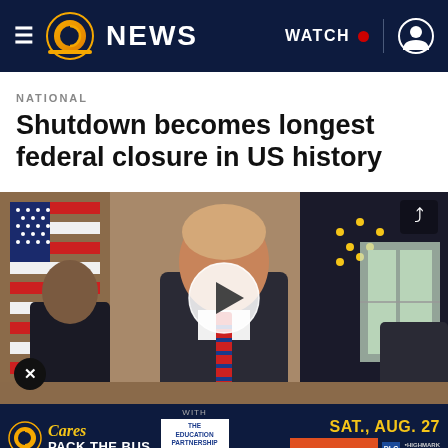11 NEWS | WATCH | User account
NATIONAL
Shutdown becomes longest federal closure in US history
[Figure (photo): Video thumbnail showing a man in a suit with a striped tie seated at a table in what appears to be the White House Cabinet Room, with an American flag and a dark flag with gold stars visible in the background. A circular white play button overlay is centered on the image. A share icon is in the top right corner and a close (X) button is in the bottom left.]
[Figure (infographic): Advertisement banner for '11 Cares Pack the Bus' event with Education Partnership logo, and sponsors including 84 Lumber Clearview, DLC, and Highmark Wholecare. The date SAT., AUG. 27 is displayed in yellow.]